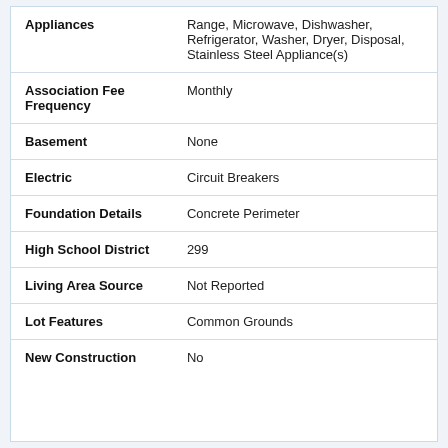| Field | Value |
| --- | --- |
| Appliances | Range, Microwave, Dishwasher, Refrigerator, Washer, Dryer, Disposal, Stainless Steel Appliance(s) |
| Association Fee Frequency | Monthly |
| Basement | None |
| Electric | Circuit Breakers |
| Foundation Details | Concrete Perimeter |
| High School District | 299 |
| Living Area Source | Not Reported |
| Lot Features | Common Grounds |
| New Construction | No |